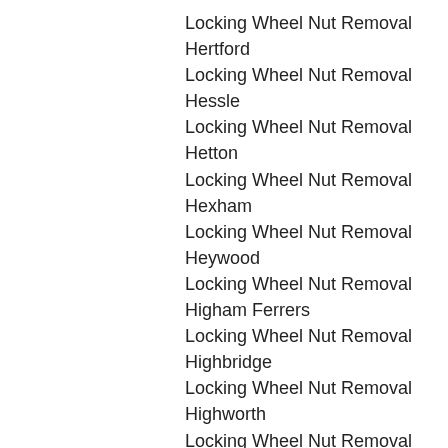Locking Wheel Nut Removal Hertford
Locking Wheel Nut Removal Hessle
Locking Wheel Nut Removal Hetton
Locking Wheel Nut Removal Hexham
Locking Wheel Nut Removal Heywood
Locking Wheel Nut Removal Higham Ferrers
Locking Wheel Nut Removal Highbridge
Locking Wheel Nut Removal Highworth
Locking Wheel Nut Removal High Wycombe
Locking Wheel Nut Removal Hinckley
Locking Wheel Nut Removal Hingham
Locking Wheel Nut Removal Hitchin
Locking Wheel Nut Removal Hoddesdon
Locking Wheel Nut Removal Holbeach
Locking Wheel Nut Removal